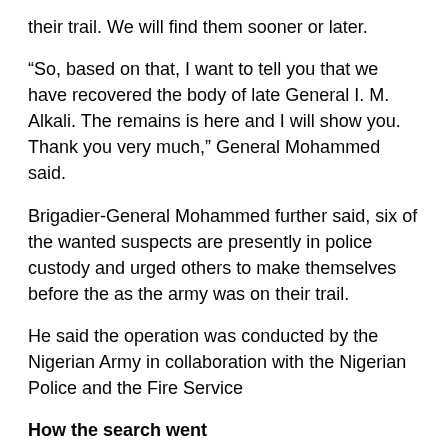their trail. We will find them sooner or later.
“So, based on that, I want to tell you that we have recovered the body of late General I. M. Alkali. The remains is here and I will show you. Thank you very much,” General Mohammed said.
Brigadier-General Mohammed further said, six of the wanted suspects are presently in police custody and urged others to make themselves before the as the army was on their trail.
He said the operation was conducted by the Nigerian Army in collaboration with the Nigerian Police and the Fire Service
How the search went
Following some intelligence gathering which led to the discovery of his car (with his personal effects therein) in Dura Du community after the Army drained the pond, the NA came to the conclusion that the army chief may have been killed by his abductors.